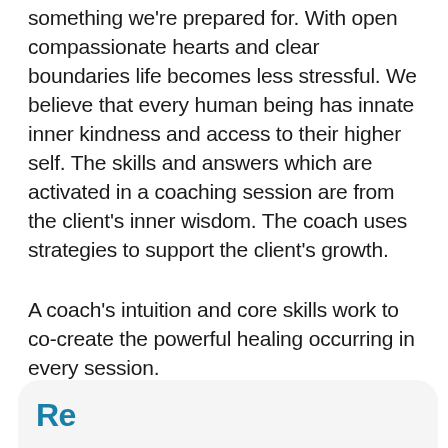something we're prepared for. With open compassionate hearts and clear boundaries life becomes less stressful. We believe that every human being has innate inner kindness and access to their higher self. The skills and answers which are activated in a coaching session are from the client's inner wisdom. The coach uses strategies to support the client's growth.
A coach's intuition and core skills work to co-create the powerful healing occurring in every session.